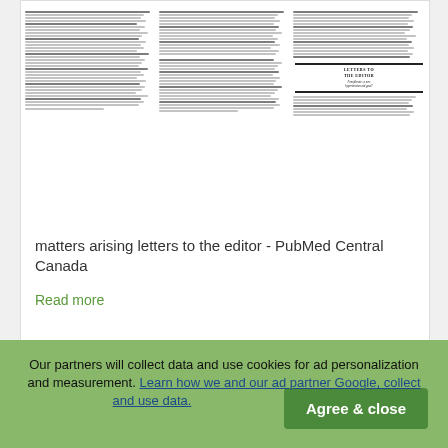[Figure (screenshot): Thumbnail preview of a multi-column academic journal page titled 'LETTERS TO THE EDITOR' from PubMed Central Canada, showing dense text columns and a boxed section heading.]
matters arising letters to the editor - PubMed Central Canada
Read more
Our partners will collect data and use cookies for ad personalization and measurement. Learn how we and our ad partner Google, collect and use data.
Agree & close